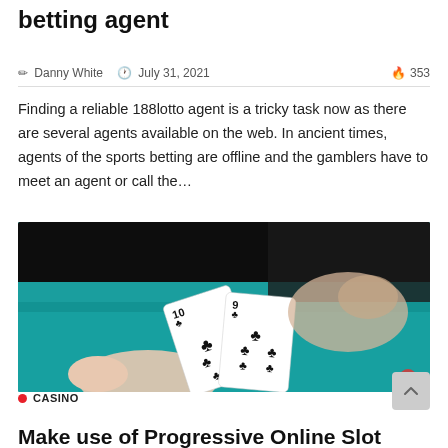betting agent
Danny White   July 31, 2021   353
Finding a reliable 188lotto agent is a tricky task now as there are several agents available on the web. In ancient times, agents of the sports betting are offline and the gamblers have to meet an agent or call the…
[Figure (photo): Close-up photo of two playing cards (10 of clubs and 9 of clubs) being held by hands on a teal casino table, with another hand blurred in the background]
CASINO
Make use of Progressive Online Slot